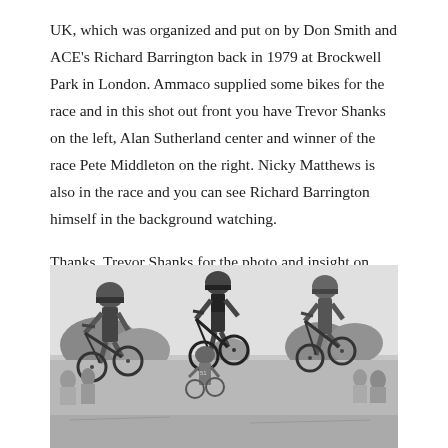UK, which was organized and put on by Don Smith and ACE's Richard Barrington back in 1979 at Brockwell Park in London. Ammaco supplied some bikes for the race and in this shot out front you have Trevor Shanks on the left, Alan Sutherland center and winner of the race Pete Middleton on the right. Nicky Matthews is also in the race and you can see Richard Barrington himself in the background watching.
Thanks, Trevor Shanks for the photo and insight on some real British BMX history.
[Figure (photo): Black and white photograph of a BMX race at Brockwell Park, London, 1979. Three riders are out front with helmets and race gear, airborne or riding fast on BMX bikes. Spectators and other riders visible in the background. One bike has number 51.]